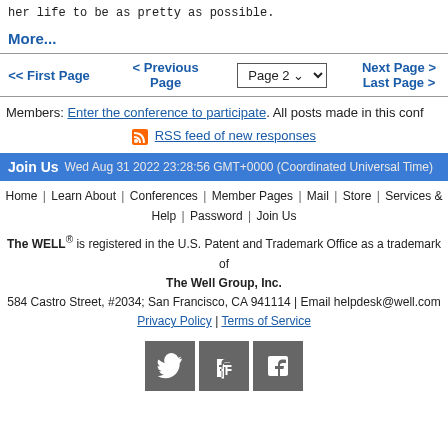her life to be as pretty as possible.
More...
<< First Page   < Previous Page   Page 2   Next Page > Last Page >
Members: Enter the conference to participate. All posts made in this conf
RSS feed of new responses
Join Us  Wed Aug 31 2022 23:28:56 GMT+0000 (Coordinated Universal Time)
Home | Learn About | Conferences | Member Pages | Mail | Store | Services & Help | Password | Join Us
The WELL® is registered in the U.S. Patent and Trademark Office as a trademark of The Well Group, Inc.
584 Castro Street, #2034; San Francisco, CA 941114 | Email helpdesk@well.com
Privacy Policy | Terms of Service
[Figure (other): Social media icons: Twitter, Google+, Facebook]